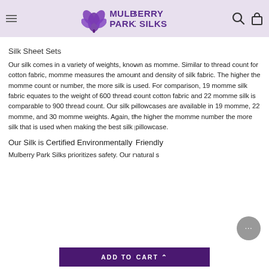Mulberry Park Silks
Silk Sheet Sets
Our silk comes in a variety of weights, known as momme. Similar to thread count for cotton fabric, momme measures the amount and density of silk fabric. The higher the momme count or number, the more silk is used. For comparison, 19 momme silk fabric equates to the weight of 600 thread count cotton fabric and 22 momme silk is comparable to 900 thread count. Our silk pillowcases are available in 19 momme, 22 momme, and 30 momme weights. Again, the higher the momme number the more silk that is used when making the best silk pillowcase.
Our Silk is Certified Environmentally Friendly
Mulberry Park Silks prioritizes safety. Our natural s